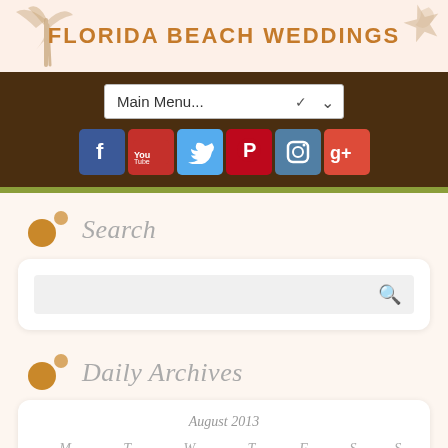FLORIDA BEACH WEDDINGS
[Figure (screenshot): Navigation bar with Main Menu dropdown and social media icons for Facebook, YouTube, Twitter, Pinterest, Instagram, Google+]
Search
[Figure (screenshot): Search input box with magnifying glass icon]
Daily Archives
| M | T | W | T | F | S | S |
| --- | --- | --- | --- | --- | --- | --- |
|  |  |  | 1 | 2 | 3 | 4 |